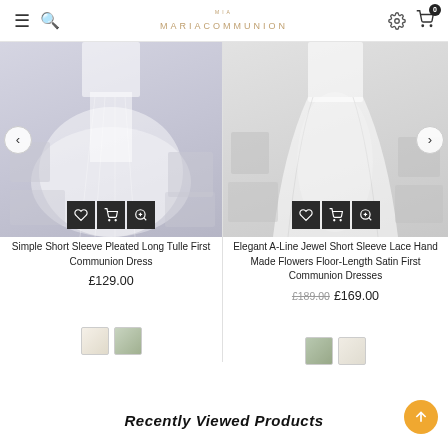MarjaCommunion - navigation header with hamburger menu, search, logo, settings, and cart (0 items)
[Figure (photo): White tulle communion dress product photo with action buttons (wishlist, cart, zoom)]
Simple Short Sleeve Pleated Long Tulle First Communion Dress
£129.00
[Figure (photo): Color swatches: ivory and sage green]
[Figure (photo): White satin communion dress product photo with action buttons (wishlist, cart, zoom)]
Elegant A-Line Jewel Short Sleeve Lace Hand Made Flowers Floor-Length Satin First Communion Dresses
£189.00   £169.00
[Figure (photo): Color swatches: sage green and ivory]
Recently Viewed Products